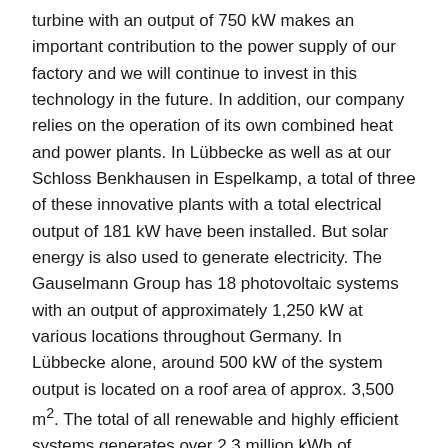turbine with an output of 750 kW makes an important contribution to the power supply of our factory and we will continue to invest in this technology in the future. In addition, our company relies on the operation of its own combined heat and power plants. In Lübbecke as well as at our Schloss Benkhausen in Espelkamp, a total of three of these innovative plants with a total electrical output of 181 kW have been installed. But solar energy is also used to generate electricity. The Gauselmann Group has 18 photovoltaic systems with an output of approximately 1,250 kW at various locations throughout Germany. In Lübbecke alone, around 500 kW of the system output is located on a roof area of approx. 3,500 m². The total of all renewable and highly efficient systems generates over 2.3 million kWh of electricity annually. In addition, the charging infrastructure is becoming increasingly important. The Gauselmann Group currently operates three charging stations, which were used for a total of over 600 charging processes in 2021. Further charging facilities are already being planned.